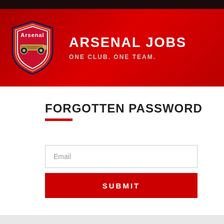[Figure (logo): Arsenal FC crest/logo with cannon emblem, red and gold colors, circular shield shape]
ARSENAL JOBS
ONE CLUB. ONE TEAM.
FORGOTTEN PASSWORD
Email
SUBMIT